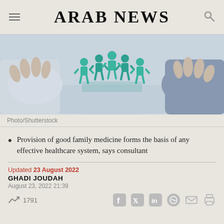ARAB NEWS
[Figure (photo): Hands protecting a circle of green paper cut-out human figures on a table, representing family medicine and healthcare community]
Photo/Shutterstock
Provision of good family medicine forms the basis of any effective healthcare system, says consultant
Updated 23 August 2022
GHADI JOUDAH
August 23, 2022 21:39
1791